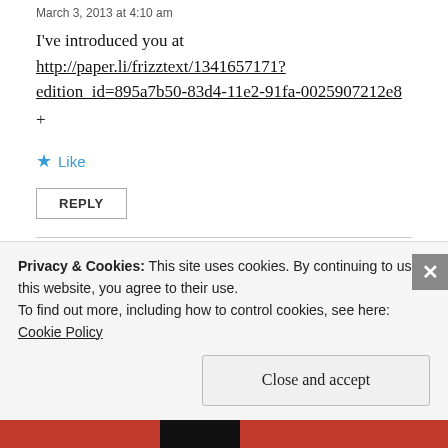March 3, 2013 at 4:10 am
I've introduced you at http://paper.li/frizztext/1341657171?edition_id=895a7b50-83d4-11e2-91fa-0025907212e8
+
★ Like
REPLY
robynrobertson2013
Privacy & Cookies: This site uses cookies. By continuing to use this website, you agree to their use.
To find out more, including how to control cookies, see here: Cookie Policy
Close and accept